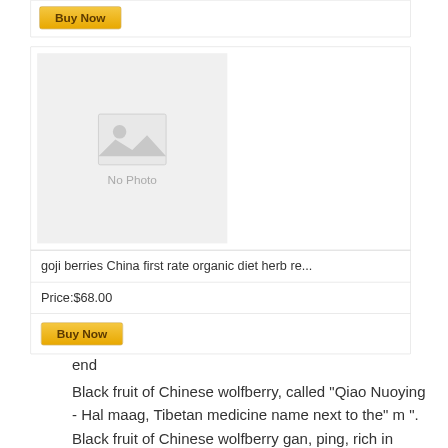[Figure (other): Buy Now button at top of page, golden gradient button]
[Figure (photo): Product card with No Photo placeholder image, product title: goji berries China first rate organic diet herb re..., Price: $68.00, and Buy Now button]
end
Black fruit of Chinese wolfberry, called "Qiao Nuoying - Hal maag, Tibetan medicine name next to the" m ". Black fruit of Chinese wolfberry gan, ping, rich in protein, wolfberry polysaccharides, amino acids, vitamins, minerals, trace